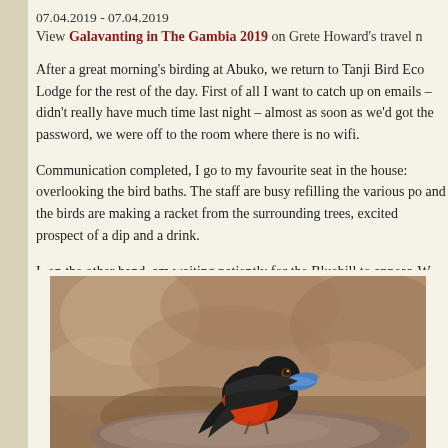07.04.2019 - 07.04.2019
View Galavanting in The Gambia 2019 on Grete Howard's travel n
After a great morning's birding at Abuko, we return to Tanji Bird Eco Lodge for the rest of the day. First of all I want to catch up on emails – didn't really have much time last night – almost as soon as we'd got the password, we were off to the room where there is no wifi.
Communication completed, I go to my favourite seat in the house: overlooking the bird baths. The staff are busy refilling the various po and the birds are making a racket from the surrounding trees, excited prospect of a dip and a drink.
I, on the other hand, am waiting patiently for the Bluebill to appear. W saw him here on the first day, but it was too dark to take photos at the time, and he hasn't been back since. So we wait. And wait. And wait.
Our patience pays off, and just before lunch he rocks up. What a bea
[Figure (photo): Close-up photograph of a Bluebill bird (small bird with bright blue bill and red/orange chest) perched on a rock, with a blurred brown background]